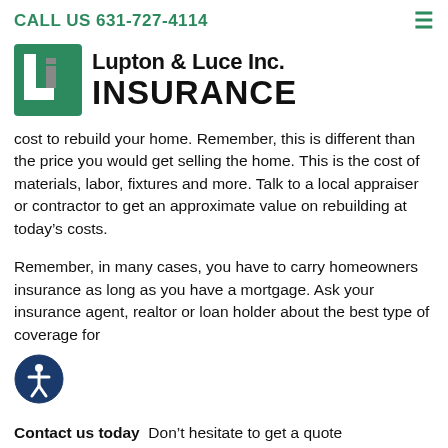CALL US 631-727-4114
[Figure (logo): Lupton & Luce Inc. Insurance logo with green square icon containing letter L and i symbol]
cost to rebuild your home. Remember, this is different than the price you would get selling the home. This is the cost of materials, labor, fixtures and more. Talk to a local appraiser or contractor to get an approximate value on rebuilding at today’s costs.
Remember, in many cases, you have to carry homeowners insurance as long as you have a mortgage. Ask your insurance agent, realtor or loan holder about the best type of coverage for
[Figure (illustration): Accessibility icon - blue circle with white figure of a person]
Contact us today  Don’t hesitate to get a quote